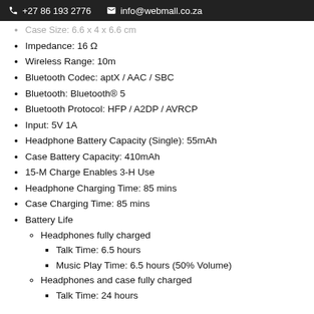+27 86 193 2776   info@webmall.co.za
Case Size: 6.6 x 4 x 6.6 cm
Impedance: 16 Ω
Wireless Range: 10m
Bluetooth Codec: aptX / AAC / SBC
Bluetooth: Bluetooth® 5
Bluetooth Protocol: HFP / A2DP / AVRCP
Input: 5V 1A
Headphone Battery Capacity (Single): 55mAh
Case Battery Capacity: 410mAh
15-M Charge Enables 3-H Use
Headphone Charging Time: 85 mins
Case Charging Time: 85 mins
Battery Life
Headphones fully charged
Talk Time: 6.5 hours
Music Play Time: 6.5 hours (50% Volume)
Headphones and case fully charged
Talk Time: 24 hours